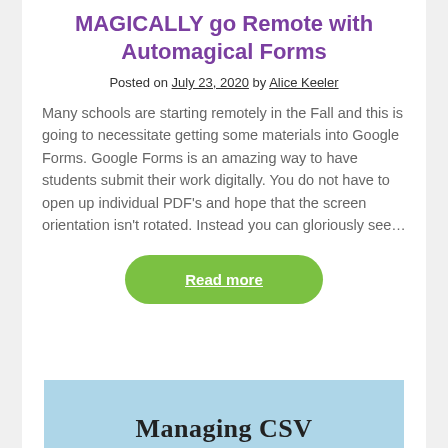MAGICALLY go Remote with Automagical Forms
Posted on July 23, 2020 by Alice Keeler
Many schools are starting remotely in the Fall and this is going to necessitate getting some materials into Google Forms. Google Forms is an amazing way to have students submit their work digitally. You do not have to open up individual PDF's and hope that the screen orientation isn't rotated. Instead you can gloriously see…
Read more
[Figure (other): Partial view of a blog post card with light blue background showing the beginning of the title 'Managing CSV']